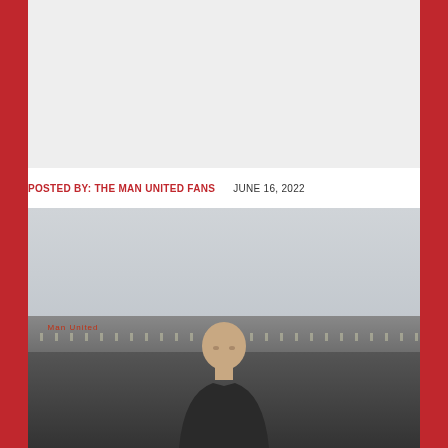[Figure (other): Gray placeholder rectangle, likely an advertisement banner]
POSTED BY: THE MAN UNITED FANS    JUNE 16, 2022
[Figure (photo): Photo of a bald man (Erik ten Hag) at a football stadium, with stadium stands and a red sign visible in the background under an overcast sky]